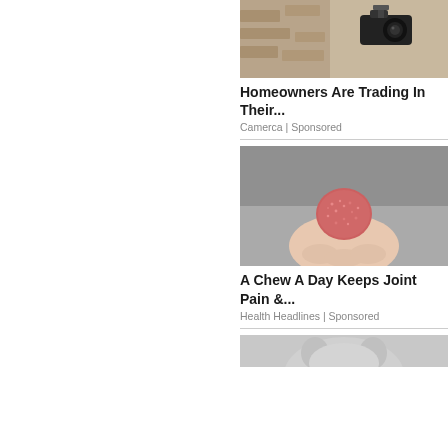[Figure (photo): Security camera mounted on a stone wall]
Homeowners Are Trading In Their...
Camerca | Sponsored
[Figure (photo): Hand holding a pink/red gummy chew]
A Chew A Day Keeps Joint Pain &...
Health Headlines | Sponsored
[Figure (photo): Partial image of a cat or animal face]